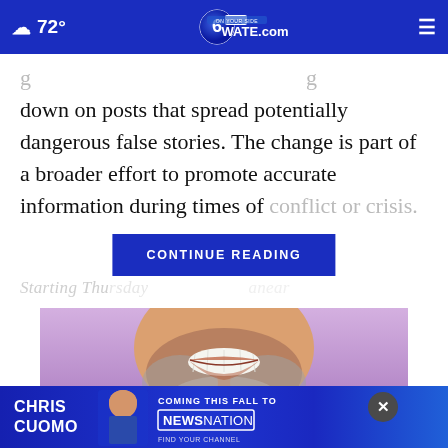☁ 72° | WATE.com (6abc) | menu
down on posts that spread potentially dangerous false stories. The change is part of a broader effort to promote accurate information during times of conflict or crisis
CONTINUE READING
Starting Thu...
[Figure (photo): Close-up cropped photo of a man's lower face showing a smile with white teeth and grey stubble beard, on a purple/lavender background]
[Figure (infographic): Chris Cuomo Coming This Fall to NewsNation advertisement banner with photo of Chris Cuomo in suit]